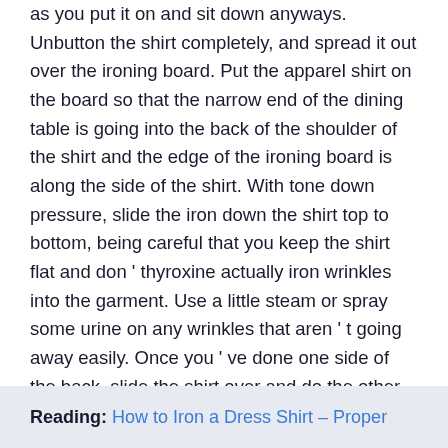as you put it on and sit down anyways. Unbutton the shirt completely, and spread it out over the ironing board. Put the apparel shirt on the board so that the narrow end of the dining table is going into the back of the shoulder of the shirt and the edge of the ironing board is along the side of the shirt. With tone down pressure, slide the iron down the shirt top to bottom, being careful that you keep the shirt flat and don ' thyroxine actually iron wrinkles into the garment. Use a little steam or spray some urine on any wrinkles that aren ' t going away easily. Once you ' ve done one side of the back, slide the shirt over and do the other side barely the lapp.
Reading: How to Iron a Dress Shirt – Proper